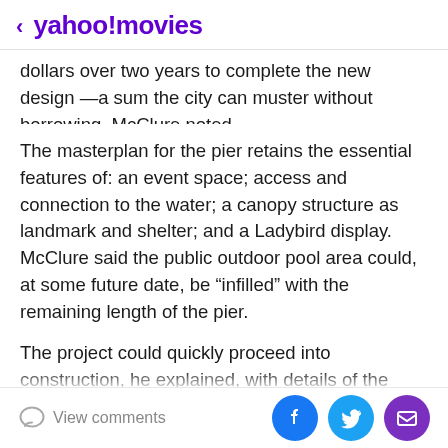< yahoo!movies
dollars over two years to complete the new design —a sum the city can muster without borrowing, McClure noted.
The masterplan for the pier retains the essential features of: an event space; access and connection to the water; a canopy structure as landmark and shelter; and a Ladybird display. McClure said the public outdoor pool area could, at some future date, be “infilled” with the remaining length of the pier.
The project could quickly proceed into construction, he explained, with details of the public outdoor pool being resolved during demolition of the existing pier. The
View comments